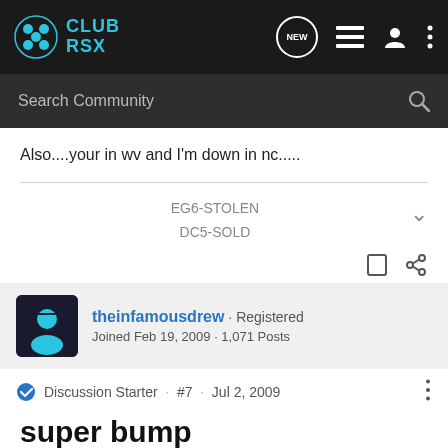Club RSX
Also....your in wv and I'm down in nc.....
EG6-STOLEN
DC5-SOLD
theinfamousdrew · Registered
Joined Feb 19, 2009 · 1,071 Posts
Discussion Starter · #7 · Jul 2, 2009
super bump